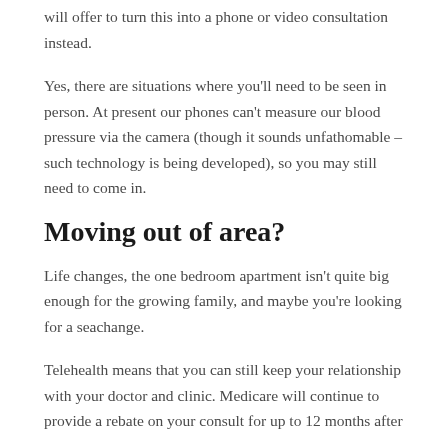will offer to turn this into a phone or video consultation instead.
Yes, there are situations where you'll need to be seen in person. At present our phones can't measure our blood pressure via the camera (though it sounds unfathomable – such technology is being developed), so you may still need to come in.
Moving out of area?
Life changes, the one bedroom apartment isn't quite big enough for the growing family, and maybe you're looking for a seachange.
Telehealth means that you can still keep your relationship with your doctor and clinic. Medicare will continue to provide a rebate on your consult for up to 12 months after